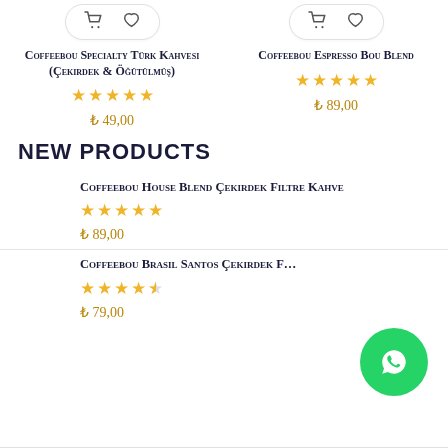[Figure (screenshot): Two product cards with cart and heart icons, showing Coffeebou Specialty Türk Kahvesi and Coffeebou Espresso Bou Blend]
Coffeebou Specialty Türk Kahvesi (Çekirdek & Öğütülmüş) — 5 stars — ₺ 49,00
Coffeebou Espresso Bou Blend — 5 stars — ₺ 89,00
NEW PRODUCTS
Coffeebou House Blend Çekirdek Filtre Kahve — 5 stars — ₺ 89,00
Coffeebou Brasil Santos Çekirdek F... — 4.5 stars — ₺ 79,00
[Figure (logo): WhatsApp icon button (green circle with phone handset)]